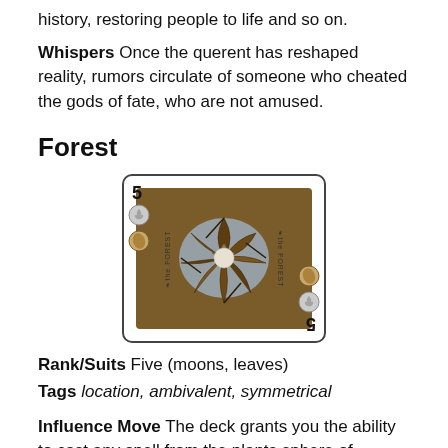history, restoring people to life and so on.
Whispers Once the querent has reshaped reality, rumors circulate of someone who cheated the gods of fate, who are not amused.
Forest
[Figure (illustration): A playing card labeled '5' with forest/leaf imagery and two circular suit icons (moon and leaf) on the left side, with 'the FOREST' text rotated vertically on both sides.]
Rank/Suits Five (moons, leaves)
Tags location, ambivalent, symmetrical
Influence Move The deck grants you the ability to cast any spell from the plants sphere of influence